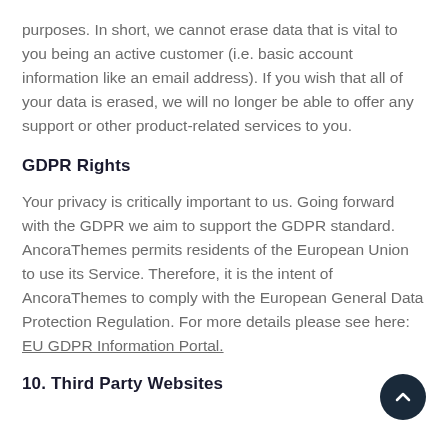purposes. In short, we cannot erase data that is vital to you being an active customer (i.e. basic account information like an email address). If you wish that all of your data is erased, we will no longer be able to offer any support or other product-related services to you.
GDPR Rights
Your privacy is critically important to us. Going forward with the GDPR we aim to support the GDPR standard. AncoraThemes permits residents of the European Union to use its Service. Therefore, it is the intent of AncoraThemes to comply with the European General Data Protection Regulation. For more details please see here: EU GDPR Information Portal.
10. Third Party Websites